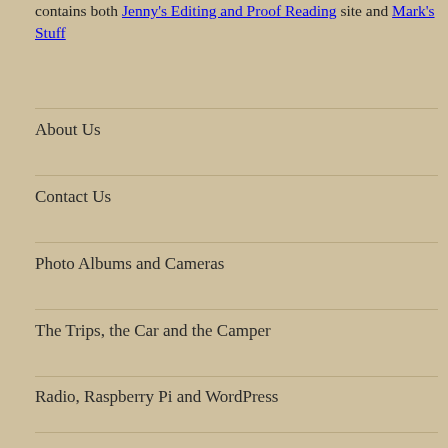contains both Jenny's Editing and Proof Reading site and Mark's Stuff
About Us
Contact Us
Photo Albums and Cameras
The Trips, the Car and the Camper
Radio, Raspberry Pi and WordPress
Mark's Stuff / Copyright Mark Forsyth 2020
WordPress Twenty Sixteen theme
Running on a Raspberry Pi 4 4GB